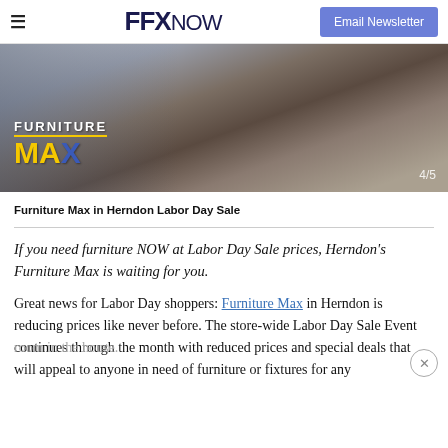≡  FFX NOW  Email Newsletter
[Figure (photo): Photo of dining room chairs and table with Furniture Max logo overlay showing yellow 'FURNITURE MAX' text with blue slash accent on dark background. Slide counter '4/5' shown in bottom right.]
Furniture Max in Herndon Labor Day Sale
If you need furniture NOW at Labor Day Sale prices, Herndon's Furniture Max is waiting for you.
Great news for Labor Day shoppers: Furniture Max in Herndon is reducing prices like never before. The store-wide Labor Day Sale Event continues through the month with reduced prices and special deals that will appeal to anyone in need of furniture or fixtures for any room in the house.